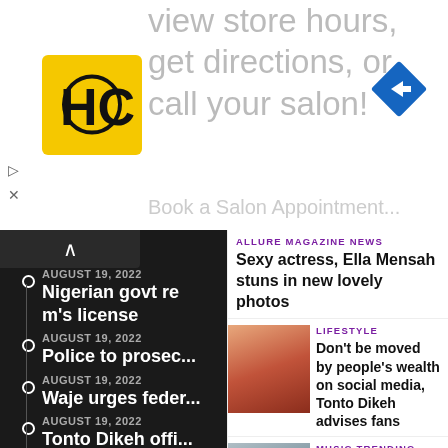[Figure (screenshot): Ad banner with HC logo (yellow square with black HC text), navigation arrow icon (blue diamond with white right arrow), and text: 'view store hours, get directions, or call your salon!']
▷
✕
∧
AUGUST 19, 2022
Nigerian govt re... m's license
AUGUST 19, 2022
Police to prosec...
AUGUST 19, 2022
Waje urges feder...
AUGUST 19, 2022
Tonto Dikeh offi... politics
AUGUST 19, 2022
Once beaten, twi... dishonest fan m...
ALLURE MAGAZINE NEWS
Sexy actress, Ella Mensah stuns in new lovely photos
[Figure (photo): Photo of a woman with colorful head wrap, dramatic eye makeup, and earrings]
LIFESTYLE
Don't be moved by people's wealth on social media, Tonto Dikeh advises fans
[Figure (photo): Photo of a woman with long dark hair]
MUSIC TRENDING
Tiwa Savage's 49-99 is out and it's nothing like you've seen before!